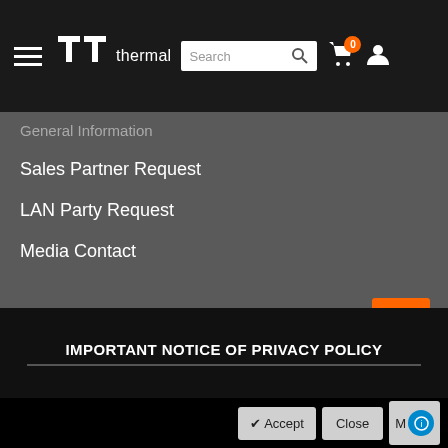Thermaltake — navigation bar with hamburger menu, logo, search, cart, user icon
General Information (partially visible)
Sales Partner Request
LAN Party Request
Media Contact
SUPPORT
Warranty Policy
How to find S/N
IMPORTANT NOTICE OF PRIVACY POLICY
✔ Accept   Close   More